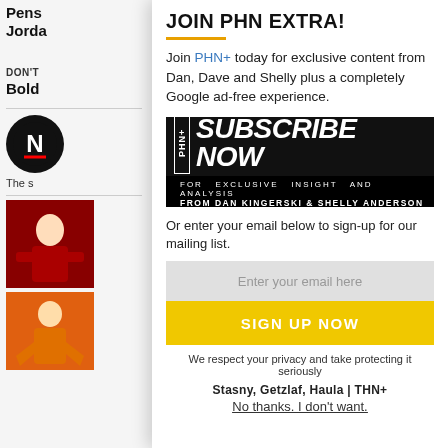Pens
Jordan
DON'T
Bold
[Figure (logo): NHL-style circular logo with letter N]
The s
[Figure (photo): Hockey player in red jersey]
[Figure (photo): Hockey player in orange Ducks jersey]
JOIN PHN EXTRA!
Join PHN+ today for exclusive content from Dan, Dave and Shelly plus a completely Google ad-free experience.
[Figure (infographic): Subscribe Now banner - FOR EXCLUSIVE INSIGHT AND ANALYSIS FROM DAN KINGERSKI & SHELLY ANDERSON]
Or enter your email below to sign-up for our mailing list.
Enter your email here
SIGN UP NOW
We respect your privacy and take protecting it seriously
Stasny, Getzlaf, Haula | THN+
No thanks. I don't want.